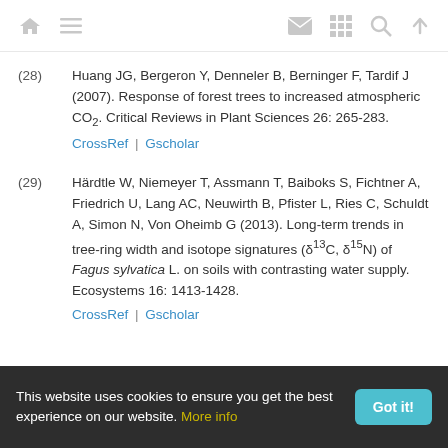(28) Huang JG, Bergeron Y, Denneler B, Berninger F, Tardif J (2007). Response of forest trees to increased atmospheric CO2. Critical Reviews in Plant Sciences 26: 265-283. CrossRef | Gscholar
(29) Härdtle W, Niemeyer T, Assmann T, Baiboks S, Fichtner A, Friedrich U, Lang AC, Neuwirth B, Pfister L, Ries C, Schuldt A, Simon N, Von Oheimb G (2013). Long-term trends in tree-ring width and isotope signatures (δ13C, δ15N) of Fagus sylvatica L. on soils with contrasting water supply. Ecosystems 16: 1413-1428. CrossRef | Gscholar
This website uses cookies to ensure you get the best experience on our website. More info